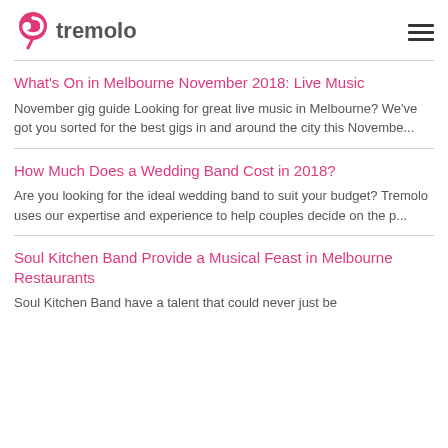Tremolo
What's On in Melbourne November 2018: Live Music
November gig guide Looking for great live music in Melbourne? We've got you sorted for the best gigs in and around the city this Novembe...
How Much Does a Wedding Band Cost in 2018?
Are you looking for the ideal wedding band to suit your budget? Tremolo uses our expertise and experience to help couples decide on the p...
Soul Kitchen Band Provide a Musical Feast in Melbourne Restaurants
Soul Kitchen Band have a talent that could never just be